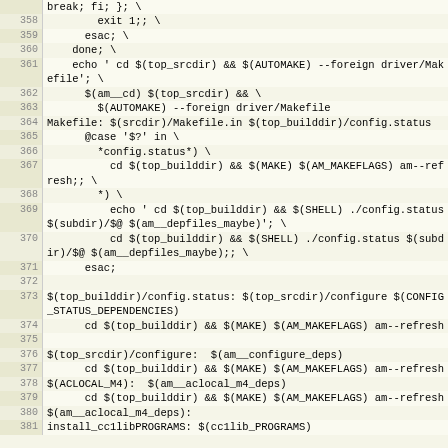[Figure (screenshot): Code listing showing Makefile rules, lines 358-381, with line numbers on the left and monospace code on the right on a beige/cream background.]